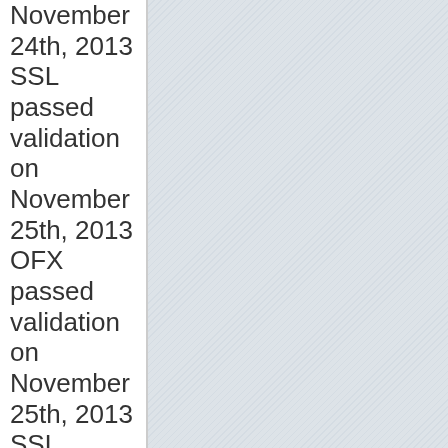November 24th, 2013 SSL passed validation on November 25th, 2013 OFX passed validation on November 25th, 2013 SSL passed validation on November 26th, 2013 OFX passed validation on November 26th, 2013 SSL passed